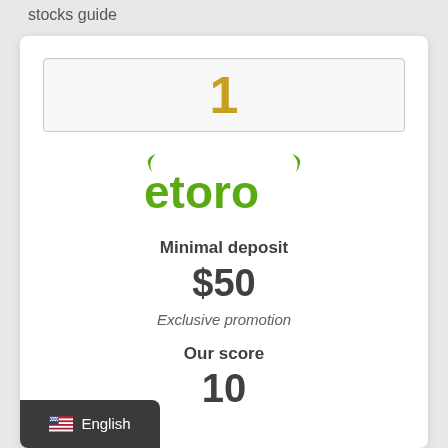stocks guide
1
[Figure (logo): eToro logo in green with bull horns]
Minimal deposit
$50
Exclusive promotion
Our score
10
English